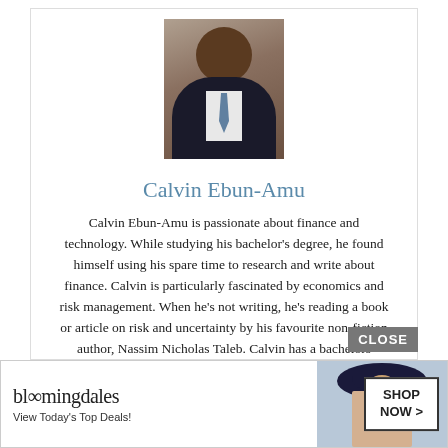[Figure (photo): Headshot photo of Calvin Ebun-Amu, a man in a dark suit with a blue tie against a grey/beige background]
Calvin Ebun-Amu
Calvin Ebun-Amu is passionate about finance and technology. While studying his bachelor’s degree, he found himself using his spare time to research and write about finance. Calvin is particularly fascinated by economics and risk management. When he’s not writing, he’s reading a book or article on risk and uncertainty by his favourite non-fiction author, Nassim Nicholas Taleb. Calvin has a bachelors degree in law and a post-graduate diploma in business.
Net W...s
[Figure (screenshot): Bloomingdale’s advertisement banner: logo reads ‘bloomingdales’, tagline ‘View Today’s Top Deals!’, with a woman in a hat and a SHOP NOW > button]